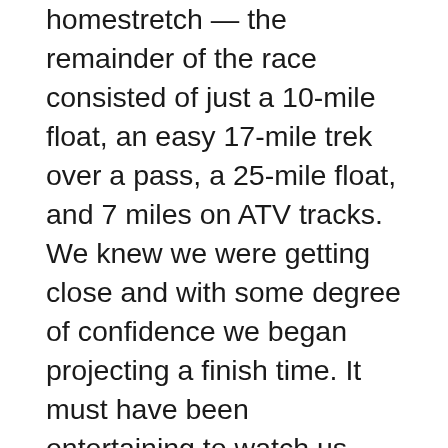homestretch — the remainder of the race consisted of just a 10-mile float, an easy 17-mile trek over a pass, a 25-mile float, and 7 miles on ATV tracks. We knew we were getting close and with some degree of confidence we began projecting a finish time. It must have been entertaining to watch us calculate: using the same assumptions about our rate of travel, we calculated three different finishing times before having a repeat number on the fourth try. With our brains overwhelmed by the simple mathematics we stopped calculating and decided that one must be correct.
Even though our spirits were lifted by the proximity of the finish line, the effects of trekking 120 rugged miles in 2.75 days were definitely showing. A few hours earlier I applied Krazy Glu to the cracking trekking pole-caused calluses along the inside of my thumbs, and in the process I glued the tube securely to the pad of my thumb and had to cut off the top layer of skin with my knife in